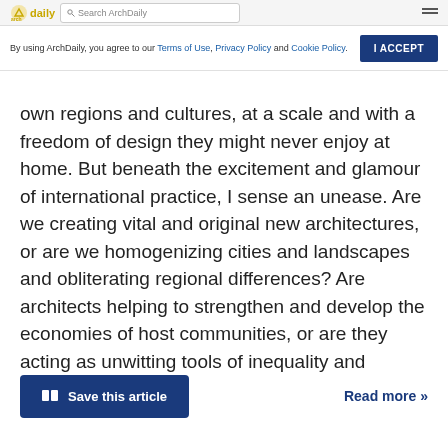ArchDaily - Search ArchDaily
By using ArchDaily, you agree to our Terms of Use, Privacy Policy and Cookie Policy.
own regions and cultures, at a scale and with a freedom of design they might never enjoy at home. But beneath the excitement and glamour of international practice, I sense an unease. Are we creating vital and original new architectures, or are we homogenizing cities and landscapes and obliterating regional differences? Are architects helping to strengthen and develop the economies of host communities, or are they acting as unwitting tools of inequality and repression?
Save this article
Read more »